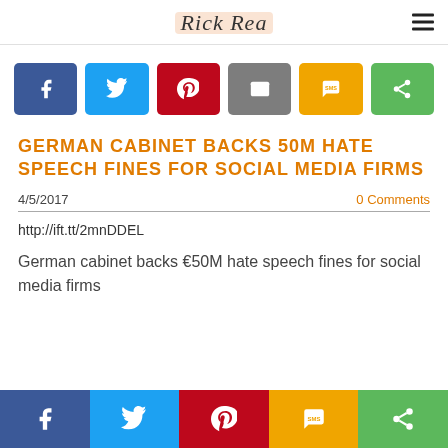Rick Rea
[Figure (other): Social share buttons row: Facebook, Twitter, Pinterest, Email, SMS, Share]
GERMAN CABINET BACKS 50M HATE SPEECH FINES FOR SOCIAL MEDIA FIRMS
4/5/2017
0 Comments
http://ift.tt/2mnDDEL
German cabinet backs €50M hate speech fines for social media firms
[Figure (other): Bottom social share buttons bar: Facebook, Twitter, Pinterest, SMS, Share]